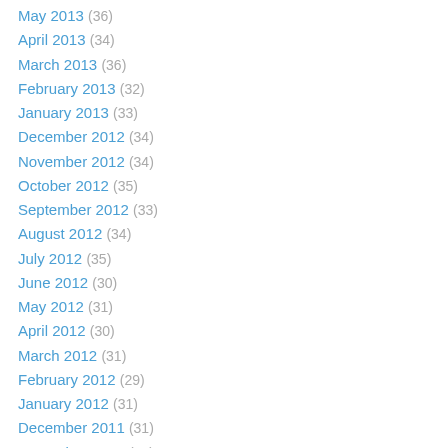May 2013 (36)
April 2013 (34)
March 2013 (36)
February 2013 (32)
January 2013 (33)
December 2012 (34)
November 2012 (34)
October 2012 (35)
September 2012 (33)
August 2012 (34)
July 2012 (35)
June 2012 (30)
May 2012 (31)
April 2012 (30)
March 2012 (31)
February 2012 (29)
January 2012 (31)
December 2011 (31)
November 2011 (30)
October 2011 (31)